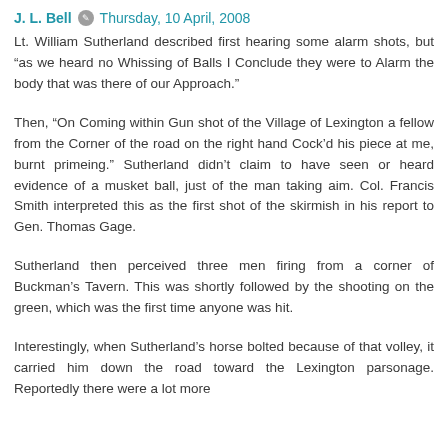J. L. Bell  Thursday, 10 April, 2008
Lt. William Sutherland described first hearing some alarm shots, but “as we heard no Whissing of Balls I Conclude they were to Alarm the body that was there of our Approach.”
Then, “On Coming within Gun shot of the Village of Lexington a fellow from the Corner of the road on the right hand Cock’d his piece at me, burnt primeing.” Sutherland didn’t claim to have seen or heard evidence of a musket ball, just of the man taking aim. Col. Francis Smith interpreted this as the first shot of the skirmish in his report to Gen. Thomas Gage.
Sutherland then perceived three men firing from a corner of Buckman’s Tavern. This was shortly followed by the shooting on the green, which was the first time anyone was hit.
Interestingly, when Sutherland’s horse bolted because of that volley, it carried him down the road toward the Lexington parsonage. Reportedly there were a lot more